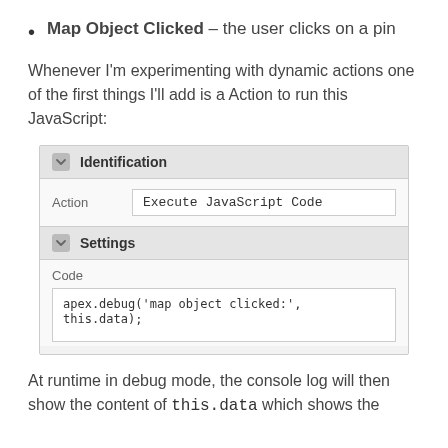Map Object Clicked – the user clicks on a pin
Whenever I'm experimenting with dynamic actions one of the first things I'll add is a Action to run this JavaScript:
[Figure (screenshot): APEX dynamic action configuration screenshot showing Identification section with Action set to 'Execute JavaScript Code', and Settings section with Code field containing: apex.debug('map object clicked:', this.data);]
At runtime in debug mode, the console log will then show the content of this.data which shows the